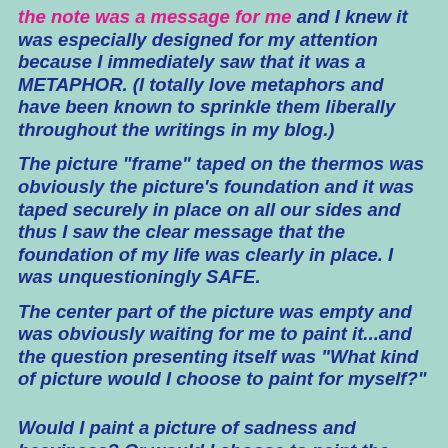the note was a message for me and I knew it was especially designed for my attention because I immediately saw that it was a METAPHOR. (I totally love metaphors and have been known to sprinkle them liberally throughout the writings in my blog.)
The picture "frame" taped on the thermos was obviously the picture's foundation and it was taped securely in place on all our sides and thus I saw the clear message that the foundation of my life was clearly in place. I was unquestioningly SAFE.
The center part of the picture was empty and was obviously waiting for me to paint it...and the question presenting itself was "What kind of picture would I choose to paint for myself?"
Would I paint a picture of sadness and heaviness? Or would I choose to paint the lightness of trust and ease and the simple joy of beingness?